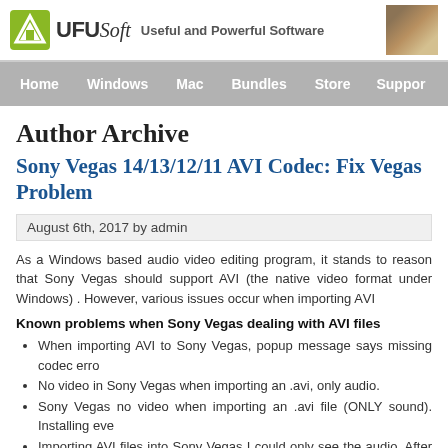UFUSoft Useful and Powerful Software
Home Windows Mac Bundles Store Support
Author Archive
Sony Vegas 14/13/12/11 AVI Codec: Fix Vegas AVI Problem
August 6th, 2017 by admin
As a Windows based audio video editing program, it stands to reason that Sony Vegas should work well with AVI (the native video format under Windows) . However, various issues occur when importing AVI files into Sony Vegas.
Known problems when Sony Vegas dealing with AVI files
When importing AVI to Sony Vegas, popup message says missing codec error
No video in Sony Vegas when importing an .avi, only audio.
Sony Vegas no video when importing an .avi file (ONLY sound). Installing even
Importing AVI files into Sony Vegas I could only see the audio. After installing Xvid temporarily. Then Xvid codec won't work and there is no video for AVI files in
Sony Vegas has problems of importing AVI recording from DXG-5F9VK HD 1